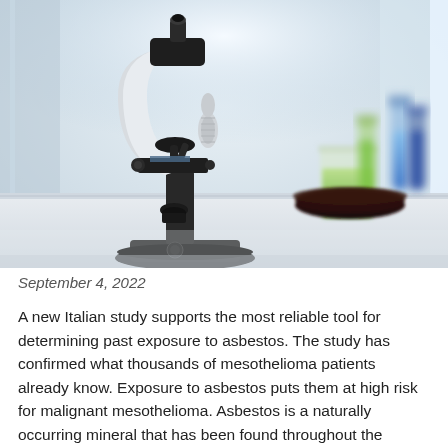[Figure (photo): Laboratory scene with a white and black microscope in the foreground on a white bench surface, with colorful laboratory glassware (beakers and test tubes with green and blue liquids) and a petri dish in the background. Bright, softly lit environment.]
September 4, 2022
A new Italian study supports the most reliable tool for determining past exposure to asbestos. The study has confirmed what thousands of mesothelioma patients already know. Exposure to asbestos puts them at high risk for malignant mesothelioma. Asbestos is a naturally occurring mineral that has been found throughout the